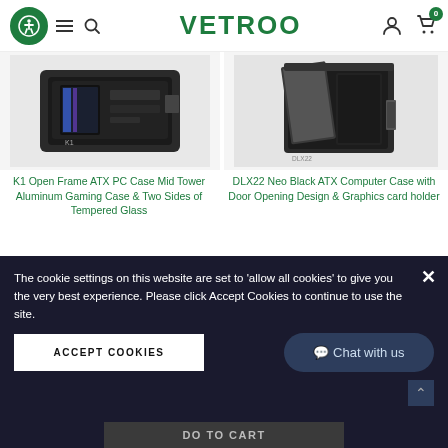VETROO
[Figure (photo): K1 Open Frame ATX PC Case product photo - dark metallic gaming case with tempered glass sides]
K1 Open Frame ATX PC Case Mid Tower Aluminum Gaming Case & Two Sides of Tempered Glass
$159.99  $149.99
[Figure (photo): DLX22 Neo Black ATX Computer Case with door opening design and graphics card holder]
DLX22 Neo Black ATX Computer Case with Door Opening Design & Graphics card holder
$69.99
ADD TO CART
ADD TO CART
The cookie settings on this website are set to 'allow all cookies' to give you the very best experience. Please click Accept Cookies to continue to use the site.
ACCEPT COOKIES
Chat with us